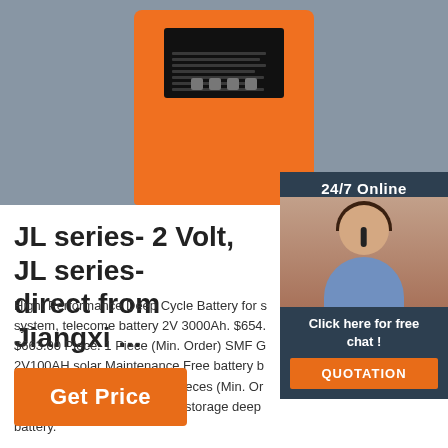[Figure (photo): Product photo of an orange handheld device with black label on denim/fabric background]
[Figure (photo): 24/7 Online chat widget showing a female customer service agent with headset, 'Click here for free chat!' text and orange QUOTATION button]
JL series- 2 Volt, JL series- direct from Jiangxi ...
Hight Performance Deep Cycle Battery for s system, telecome battery 2V 3000Ah. $654. $663.00 Piece. 1 Piece (Min. Order) SMF G 2V100AH solar Maintenance Free battery b $50.00 - $90.00 Piece. 100 Pieces (Min. Or 2000Ah Solar off-grid system storage deep battery.
Get Price